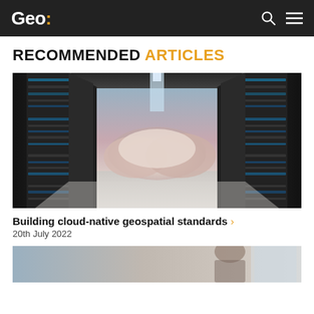Geo:
RECOMMENDED ARTICLES
[Figure (photo): Server room corridor with server racks on both sides and a dramatic cloud sky visible in the background center]
Building cloud-native geospatial standards >
20th July 2022
[Figure (photo): Partial view of a person in a professional setting, appearing to be a second article thumbnail]